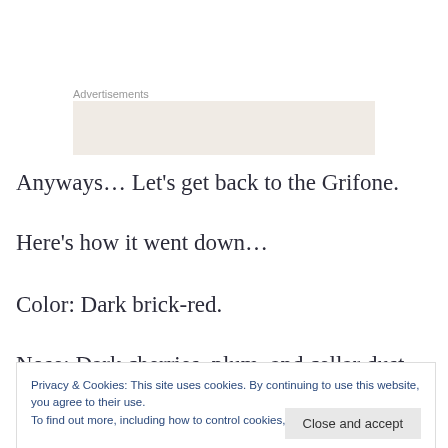Advertisements
[Figure (other): Advertisement placeholder box with light beige background]
Anyways… Let's get back to the Grifone.
Here's how it went down…
Color: Dark brick-red.
Nose: Dark cherries, plum, and cellar dust.  Nice!
Privacy & Cookies: This site uses cookies. By continuing to use this website, you agree to their use.
To find out more, including how to control cookies, see here: Cookie Policy
Advertisements